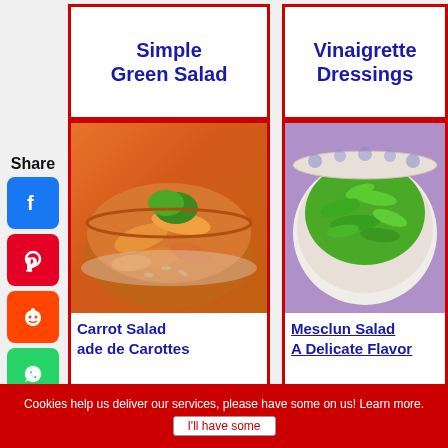Simple Green Salad
Vinaigrette Dressings
[Figure (photo): Bowl of carrot salad with shredded carrots and seeds]
Carrot Salad
alade de Carottes
[Figure (photo): Bowl of mesclun salad with fresh green herbs]
Mesclun Salad
A Delicate Flavor
[Figure (photo): Bottom left food photo partially visible]
[Figure (photo): Bottom right food photo with cucumber slices and tomato]
Share
Cookies help us deliver our services, please have some on us! Learn more.
I'll have some